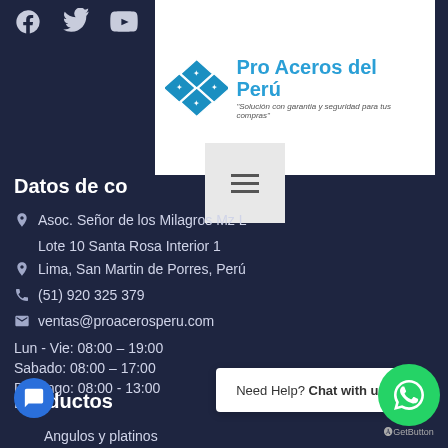[Figure (other): Social media icons: Facebook, Twitter, YouTube]
[Figure (logo): Pro Aceros del Perú logo with diamond grid and tagline: Solución con garantia y seguridad para tus compras]
[Figure (other): Hamburger menu button (three horizontal lines)]
Datos de co
Asoc. Señor de los Milagros Mz L
Lote 10 Santa Rosa Interior 1
Lima, San Martin de Porres, Perú
(51) 920 325 379
ventas@proacerosperu.com
Lun - Vie: 08:00 – 19:00
Sabado: 08:00 – 17:00
Domingo: 08:00 - 13:00
Productos
Angulos y platinos
Need Help? Chat with us
[Figure (logo): WhatsApp button icon]
GetButton
[Figure (other): Chat bubble button icon]